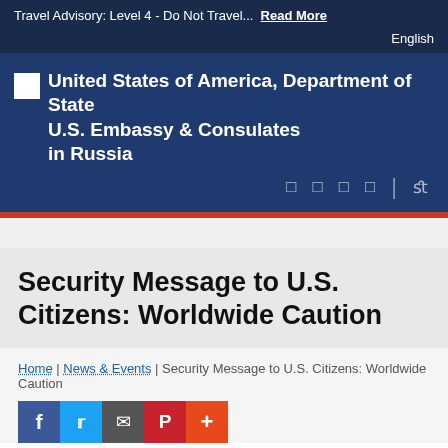Travel Advisory: Level 4 - Do Not Travel... Read More
English
[Figure (logo): United States of America, Department of State seal/logo placeholder with text: United States of America, Department of State — U.S. Embassy & Consulates in Russia]
Security Message to U.S. Citizens: Worldwide Caution
Home | News & Events | Security Message to U.S. Citizens: Worldwide Caution